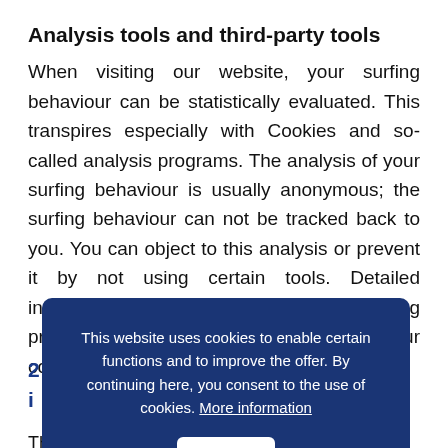Analysis tools and third-party tools
When visiting our website, your surfing behaviour can be statistically evaluated. This transpires especially with Cookies and so-called analysis programs. The analysis of your surfing behaviour is usually anonymous; the surfing behaviour can not be tracked back to you. You can object to this analysis or prevent it by not using certain tools. Detailed information can be found in the following privacy policy. Information regarding your contestation possibilities c…
This website uses cookies to enable certain functions and to improve the offer. By continuing here, you consent to the use of cookies. More information
OK
2…
i…
The use of the…